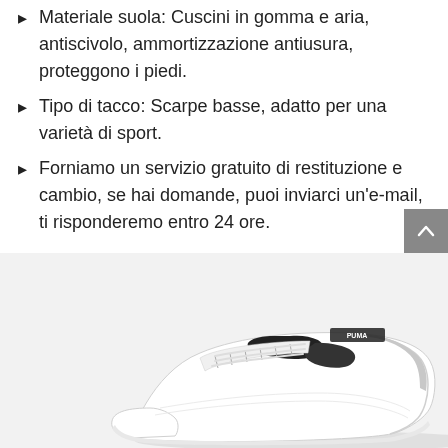Materiale suola: Cuscini in gomma e aria, antiscivolo, ammortizzazione antiusura, proteggono i piedi.
Tipo di tacco: Scarpe basse, adatto per una varietà di sport.
Forniamo un servizio gratuito di restituzione e cambio, se hai domande, puoi inviarci un'e-mail, ti risponderemo entro 24 ore.
[Figure (photo): White Puma sneaker with black stripe detail, low-cut athletic shoe, shown from a three-quarter front view on a light grey background.]